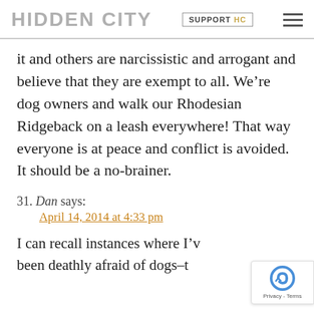HIDDEN CITY | SUPPORT HC
it and others are narcissistic and arrogant and believe that they are exempt to all. We’re dog owners and walk our Rhodesian Ridgeback on a leash everywhere! That way everyone is at peace and conflict is avoided. It should be a no-brainer.
31. Dan says: April 14, 2014 at 4:33 pm
I can recall instances where I’ve been deathly afraid of dogs–t